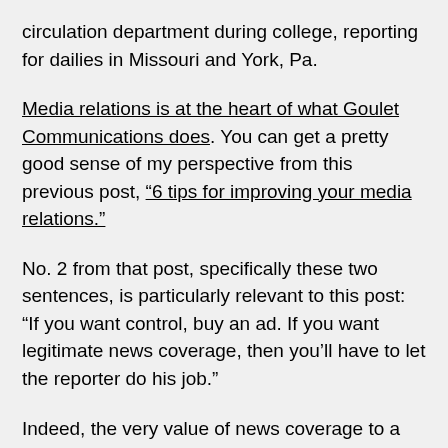circulation department during college, reporting for dailies in Missouri and York, Pa.
Media relations is at the heart of what Goulet Communications does. You can get a pretty good sense of my perspective from this previous post, “6 tips for improving your media relations.”
No. 2 from that post, specifically these two sentences, is particularly relevant to this post: “If you want control, buy an ad. If you want legitimate news coverage, then you’ll have to let the reporter do his job.”
Indeed, the very value of news coverage to a public relations client is in allowing for freedom of the press. Sure, proactive media relations is about shaping a message but also acknowledging that ultimate control rests with the media outlet. That third-party validation is what makes news so